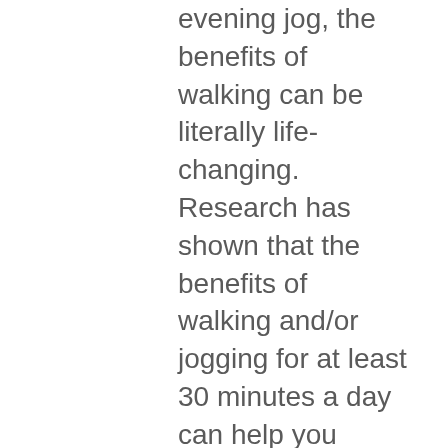evening jog, the benefits of walking can be literally life-changing. Research has shown that the benefits of walking and/or jogging for at least 30 minutes a day can help you maintain mental, emotion, and physical health. Come and visit WDP and take the steps to better health.